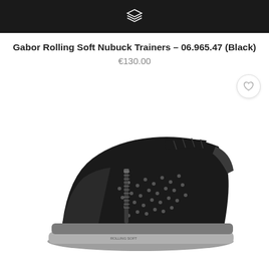Gabor Rolling Soft Nubuck Trainers – 06.965.47 (Black)
€130.00
[Figure (photo): Black Gabor Rolling Soft Nubuck trainer shoe with sparkle dot pattern, side zipper, laces, and grey sole, shown from side angle on white background]